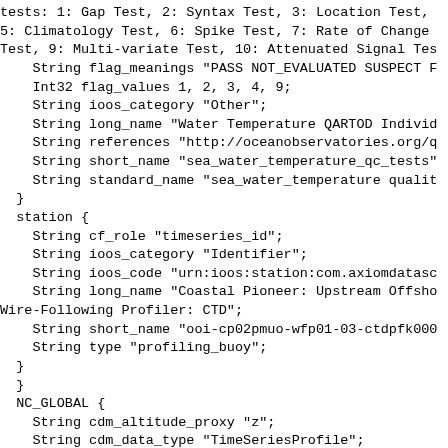tests: 1: Gap Test, 2: Syntax Test, 3: Location Test, 5: Climatology Test, 6: Spike Test, 7: Rate of Change Test, 9: Multi-variate Test, 10: Attenuated Signal Tes
    String flag_meanings "PASS NOT_EVALUATED SUSPECT F
    Int32 flag_values 1, 2, 3, 4, 9;
    String ioos_category "Other";
    String long_name "Water Temperature QARTOD Individ
    String references "http://oceanobservatories.org/q
    String short_name "sea_water_temperature_qc_tests"
    String standard_name "sea_water_temperature qualit
  }
  station {
    String cf_role "timeseries_id";
    String ioos_category "Identifier";
    String ioos_code "urn:ioos:station:com.axiomdatasc
    String long_name "Coastal Pioneer: Upstream Offsho
Wire-Following Profiler: CTD";
    String short_name "ooi-cp02pmuo-wfp01-03-ctdpfk000
    String type "profiling_buoy";
  }
  }
  NC_GLOBAL {
    String cdm_altitude_proxy "z";
    String cdm_data_type "TimeSeriesProfile";
    String cdm_profile_variables "time";
    String cdm_timeseries_variables "station,longitude